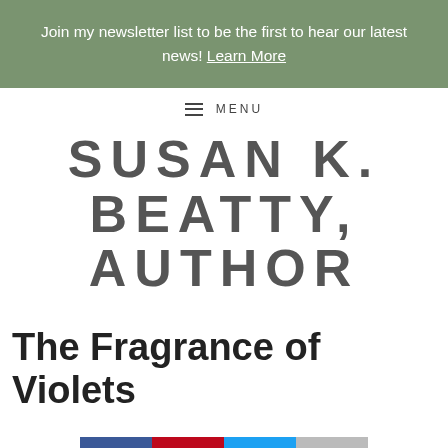Join my newsletter list to be the first to hear our latest news! Learn More
≡ MENU
SUSAN K. BEATTY, AUTHOR
The Fragrance of Violets
[Figure (other): Social sharing buttons: Facebook (blue), Pinterest (red), Twitter (cyan), Email (gray)]